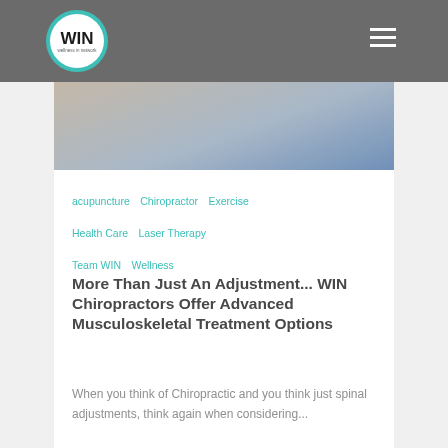WIN (logo) | navigation menu
[Figure (photo): Close-up photo of a hand/arm on a surface, partial view, blurred background with blue and beige tones]
acupuncture  Chiropractor  Exercise
Health Care  Laser Therapy
Team WIN  Wellness
More Than Just An Adjustment... WIN Chiropractors Offer Advanced Musculoskeletal Treatment Options
When you think of Chiropractic and you think just spinal adjustments, think again when considering...